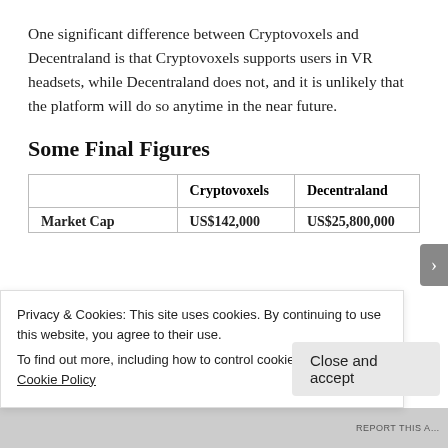One significant difference between Cryptovoxels and Decentraland is that Cryptovoxels supports users in VR headsets, while Decentraland does not, and it is unlikely that the platform will do so anytime in the near future.
Some Final Figures
|  | Cryptovoxels | Decentraland |
| --- | --- | --- |
| Market Cap | US$142,000 | US$25,800,000 |
Privacy & Cookies: This site uses cookies. By continuing to use this website, you agree to their use.
To find out more, including how to control cookies, see here: Cookie Policy
Close and accept